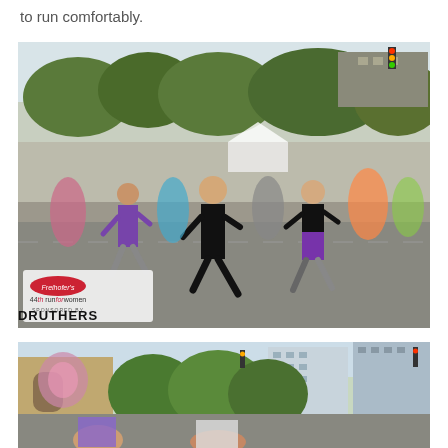to run comfortably.
[Figure (photo): Large group of women running in a street race (Freihofer's 44th Run for Women, sponsored by Druthers) on a sunny day in an urban setting. Runners in athletic wear, trees and buildings in background, event branding visible in lower left corner.]
[Figure (photo): Partial view of women runners in a street race in an urban downtown setting with buildings, trees, and traffic lights visible. Bottom portion of a second race photo, similar event setting.]